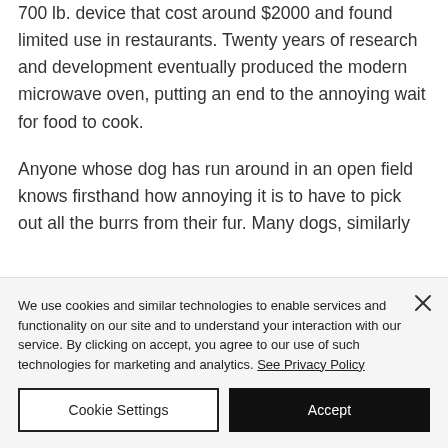700 lb. device that cost around $2000 and found limited use in restaurants. Twenty years of research and development eventually produced the modern microwave oven, putting an end to the annoying wait for food to cook.
Anyone whose dog has run around in an open field knows firsthand how annoying it is to have to pick out all the burrs from their fur. Many dogs, similarly
We use cookies and similar technologies to enable services and functionality on our site and to understand your interaction with our service. By clicking on accept, you agree to our use of such technologies for marketing and analytics. See Privacy Policy